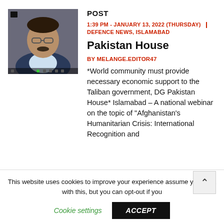[Figure (photo): A man wearing glasses in a video call screenshot, dark background]
POST
1:39 PM - JANUARY 13, 2022 (THURSDAY) | DEFENCE NEWS, ISLAMABAD
Pakistan House
BY MELANGE.EDITOR47
*World community must provide necessary economic support to the Taliban government, DG Pakistan House* Islamabad – A national webinar on the topic of "Afghanistan's Humanitarian Crisis: International Recognition and
This website uses cookies to improve your experience assume you're ok with this, but you can opt-out if you
Cookie settings
ACCEPT